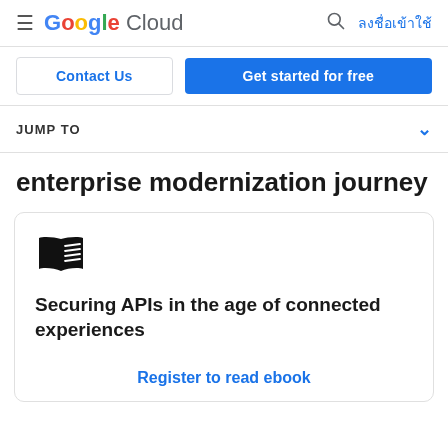Google Cloud — ลงชื่อเข้าใช้
Contact Us
Get started for free
JUMP TO
enterprise modernization journey
[Figure (illustration): Open book icon representing an ebook]
Securing APIs in the age of connected experiences
Register to read ebook